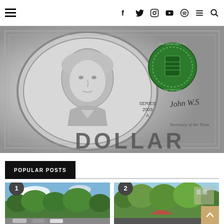Navigation bar with hamburger menu and social icons (Facebook, Twitter, Instagram, YouTube, Spotify) and search
[Figure (photo): Close-up macro photograph of a US one dollar bill showing George Washington portrait in black and white, green Treasury seal on right, text reading SERIES 2003 A, signature of John W. Snow Secretary of the Treasury, and DOLLAR text along the bottom]
POPULAR POSTS
[Figure (photo): Outdoor scene thumbnail for Popular Post #1 showing trees and sky with parking lot]
[Figure (photo): Outdoor scene thumbnail for Popular Post #2 showing trees and buildings]